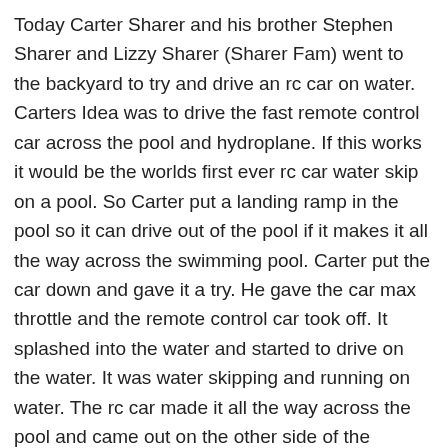Today Carter Sharer and his brother Stephen Sharer and Lizzy Sharer (Sharer Fam) went to the backyard to try and drive an rc car on water. Carters Idea was to drive the fast remote control car across the pool and hydroplane. If this works it would be the worlds first ever rc car water skip on a pool. So Carter put a landing ramp in the pool so it can drive out of the pool if it makes it all the way across the swimming pool. Carter put the car down and gave it a try. He gave the car max throttle and the remote control car took off. It splashed into the water and started to drive on the water. It was water skipping and running on water. The rc car made it all the way across the pool and came out on the other side of the swimming pool. It was so amazing to see this rc truck ride on water like that. It was driving on the water in the pool and I couldn't believe it. Comment #RCcar if you loved this vlog.